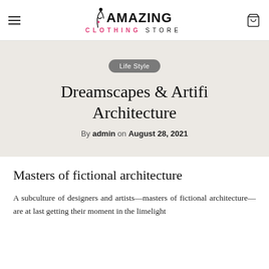Amazing Clothing Store — navigation header with hamburger menu and cart icon
Life Style
Dreamscapes & Artifi Architecture
By admin on August 28, 2021
Masters of fictional architecture
A subculture of designers and artists—masters of fictional architecture—are at last getting their moment in the limelight